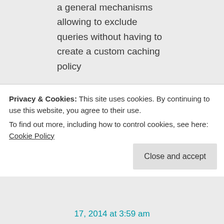a general mechanisms allowing to exclude queries without having to create a custom caching policy

The above should be included in Beta.

Hope this helps,
Pawel
Privacy & Cookies: This site uses cookies. By continuing to use this website, you agree to their use.
To find out more, including how to control cookies, see here: Cookie Policy
17, 2014 at 3:59 am